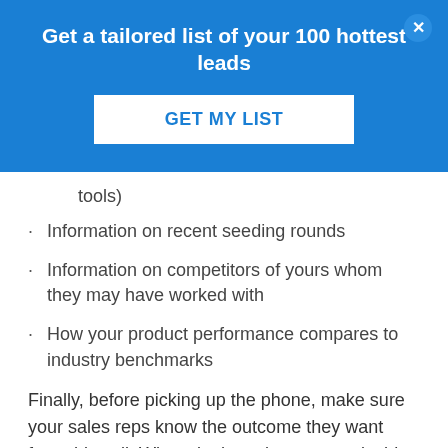Get a tailored list of your 100 hottest leads
GET MY LIST
tools)
Information on recent seeding rounds
Information on competitors of yours whom they may have worked with
How your product performance compares to industry benchmarks
Finally, before picking up the phone, make sure your sales reps know the outcome they want from this call. Where in the sales process is this prospect right now? What, as per your understanding of their